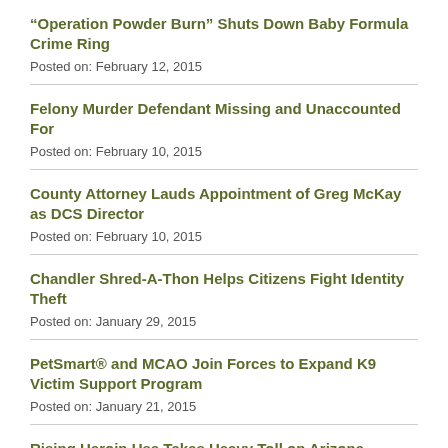“Operation Powder Burn” Shuts Down Baby Formula Crime Ring
Posted on: February 12, 2015
Felony Murder Defendant Missing and Unaccounted For
Posted on: February 10, 2015
County Attorney Lauds Appointment of Greg McKay as DCS Director
Posted on: February 10, 2015
Chandler Shred-A-Thon Helps Citizens Fight Identity Theft
Posted on: January 29, 2015
PetSmart® and MCAO Join Forces to Expand K9 Victim Support Program
Posted on: January 21, 2015
Rising Heroin Use Takes Heavy Toll on Arizona